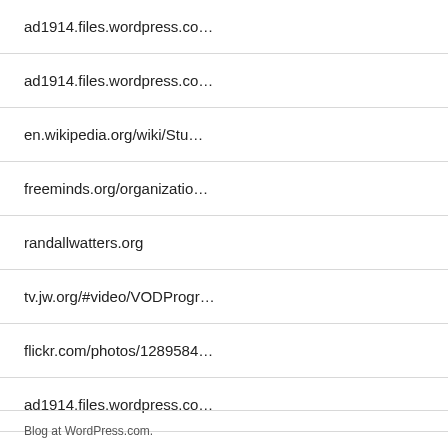ad1914.files.wordpress.co…
ad1914.files.wordpress.co…
en.wikipedia.org/wiki/Stu…
freeminds.org/organizatio…
randallwatters.org
tv.jw.org/#video/VODProgr…
flickr.com/photos/1289584…
ad1914.files.wordpress.co…
printcentralandsigns.com/…
printcentralandsigns.com/…
Blog at WordPress.com.